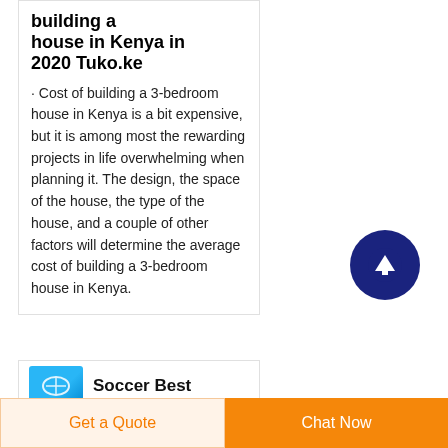building a house in Kenya in 2020 Tuko.ke
· Cost of building a 3-bedroom house in Kenya is a bit expensive, but it is among most the rewarding projects in life overwhelming when planning it. The design, the space of the house, the type of the house, and a couple of other factors will determine the average cost of building a 3-bedroom house in Kenya.
[Figure (other): Scroll-to-top button: dark navy circle with white upward arrow]
Soccer Best
Get a Quote
Chat Now